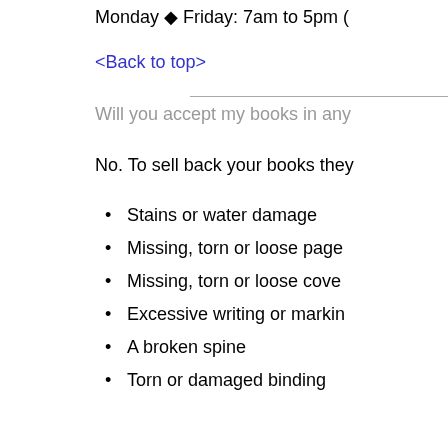Monday � Friday: 7am to 5pm (
<Back to top>
Will you accept my books in any
No. To sell back your books they
Stains or water damage
Missing, torn or loose page
Missing, torn or loose cove
Excessive writing or markin
A broken spine
Torn or damaged binding
You will not receive payment for quality. If you are unsure of whet yourself if you would be satisfied
<Back to top>
Do you buy back Course Manua
No. Course manuals are